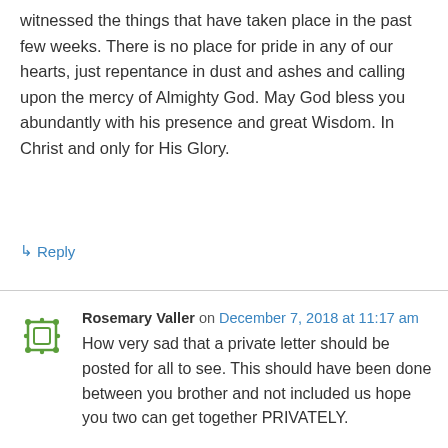witnessed the things that have taken place in the past few weeks. There is no place for pride in any of our hearts, just repentance in dust and ashes and calling upon the mercy of Almighty God. May God bless you abundantly with his presence and great Wisdom. In Christ and only for His Glory.
↳ Reply
Rosemary Valler on December 7, 2018 at 11:17 am
How very sad that a private letter should be posted for all to see. This should have been done between you brother and not included us hope you two can get together PRIVATELY.